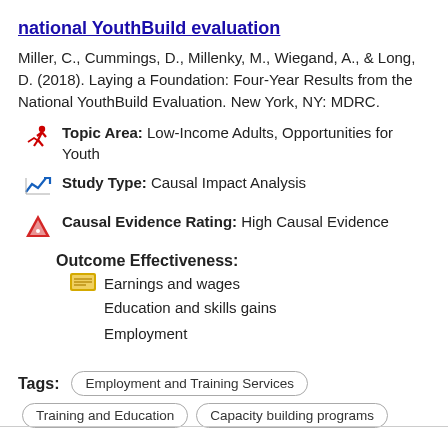national YouthBuild evaluation
Miller, C., Cummings, D., Millenky, M., Wiegand, A., & Long, D. (2018). Laying a Foundation: Four-Year Results from the National YouthBuild Evaluation. New York, NY: MDRC.
Topic Area: Low-Income Adults, Opportunities for Youth
Study Type: Causal Impact Analysis
Causal Evidence Rating: High Causal Evidence
Outcome Effectiveness:
Earnings and wages
Education and skills gains
Employment
Tags: Employment and Training Services | Training and Education | Capacity building programs